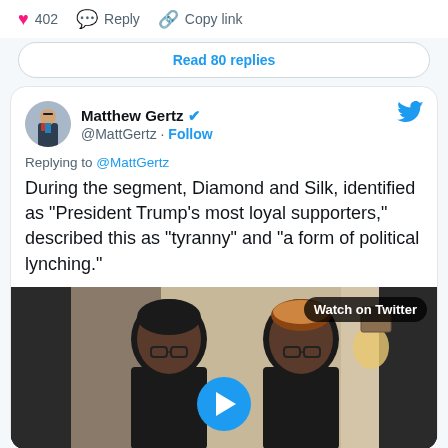402  Reply  Copy link
Read 80 replies
Matthew Gertz @MattGertz · Follow
Replying to @MattGertz
During the segment, Diamond and Silk, identified as "President Trump's most loyal supporters," described this as "tyranny" and "a form of political lynching."
[Figure (screenshot): Video thumbnail showing two women, with a 'Watch on Twitter' label and a blue play button overlay]